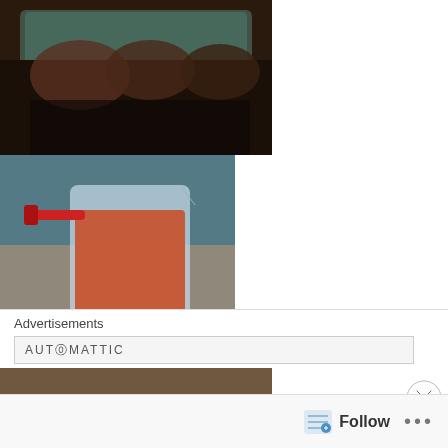[Figure (photo): Collage of three food preparation photos: top shows meat in a glass baking dish, middle shows red sauce in a measuring cup on a granite countertop, bottom shows dark sauce in a white ceramic bowl with a ladle]
Prepare the sauce
Advertisements
AUT⊙MATTIC
Follow ...